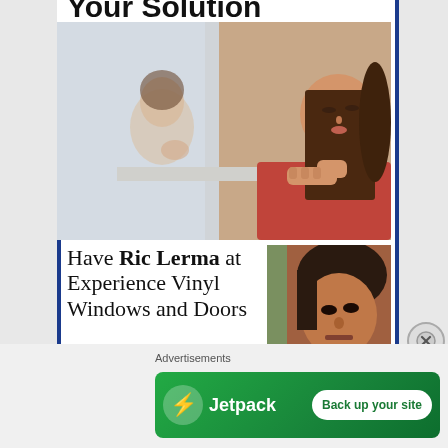Your Solution
[Figure (photo): A young girl with long brown hair resting her chin on her hands, looking at her reflection in a window. The reflection shows her as a younger child.]
Have Ric Lerma at Experience Vinyl Windows and Doors
[Figure (photo): A man with dark hair, partial face visible, appearing to look forward.]
Advertisements
[Figure (logo): Jetpack advertisement banner with green background. Shows Jetpack logo (lightning bolt in circle) and text 'Jetpack' with a white button 'Back up your site'.]